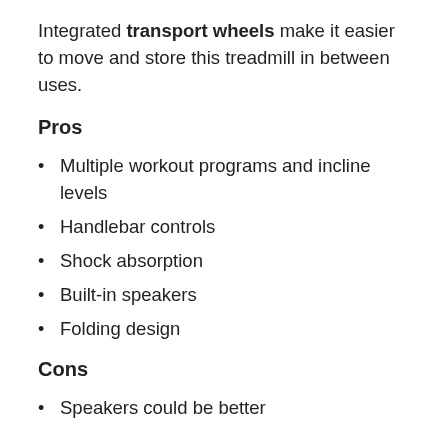Integrated transport wheels make it easier to move and store this treadmill in between uses.
Pros
Multiple workout programs and incline levels
Handlebar controls
Shock absorption
Built-in speakers
Folding design
Cons
Speakers could be better